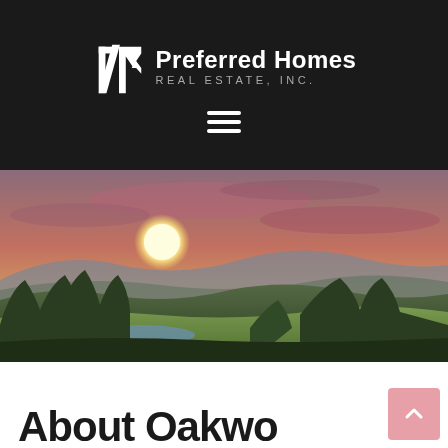[Figure (logo): Preferred Homes Real Estate, Inc. logo with stylized house/roof icon in white on dark background]
[Figure (other): Hamburger menu icon (three horizontal white lines) on dark background]
[Figure (photo): Scenic landscape photo showing rolling hills, green vegetation, a small lake, and a dramatic pink/purple sunset sky with the sun visible]
About Oakwood